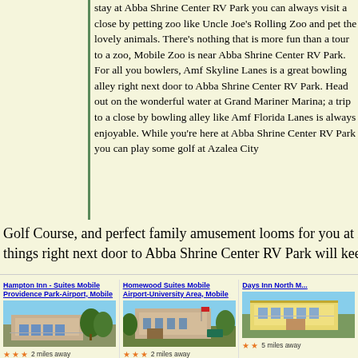stay at Abba Shrine Center RV Park you can always visit a close by petting zoo like Uncle Joe's Rolling Zoo and pet the lovely animals. There's nothing that is more fun than a tour to a zoo, Mobile Zoo is near Abba Shrine Center RV Park. For all you bowlers, Amf Skyline Lanes is a great bowling alley right next door to Abba Shrine Center RV Park. Head out on the wonderful water at Grand Mariner Marina; a trip to a close by bowling alley like Amf Florida Lanes is always enjoyable. While you're here at Abba Shrine Center RV Park you can play some golf at Azalea City
Golf Course, and perfect family amusement looms for you at Xtre... things right next door to Abba Shrine Center RV Park will keep yo...
[Figure (photo): Hampton Inn - Suites Mobile Providence Park-Airport hotel building with trees]
[Figure (photo): Homewood Suites Mobile Airport-University Area hotel building with trees]
[Figure (photo): Days Inn North Mobile hotel building]